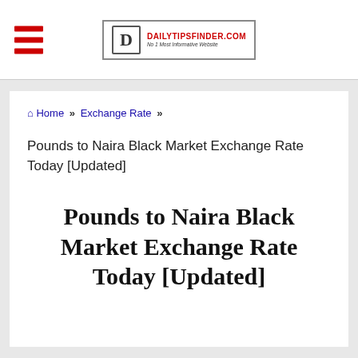Dailytipsfinder.com — No 1 Most Informative Website
Home » Exchange Rate »
Pounds to Naira Black Market Exchange Rate Today [Updated]
Pounds to Naira Black Market Exchange Rate Today [Updated]